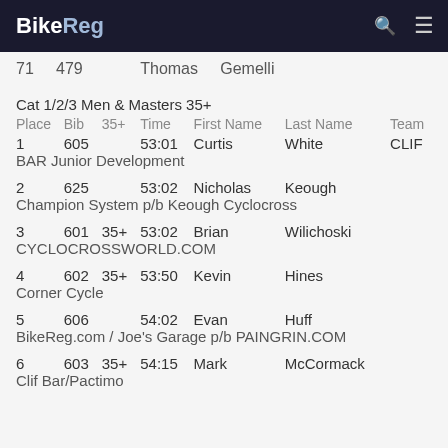BikeReg
71   479   Thomas   Gemelli
Cat 1/2/3 Men & Masters 35+
| Place | Bib | 35+ | Time | First Name | Last Name | Team |
| --- | --- | --- | --- | --- | --- | --- |
| 1 | 605 |  | 53:01 | Curtis | White | CLIF BAR Junior Development |
| 2 | 625 |  | 53:02 | Nicholas | Keough | Champion System p/b Keough Cyclocross |
| 3 | 601 | 35+ | 53:02 | Brian | Wilichoski | CYCLOCROSSWORLD.COM |
| 4 | 602 | 35+ | 53:50 | Kevin | Hines | Corner Cycle |
| 5 | 606 |  | 54:02 | Evan | Huff | BikeReg.com / Joe's Garage p/b PAINGRIN.COM |
| 6 | 603 | 35+ | 54:15 | Mark | McCormack | Clif Bar/Pactimo |